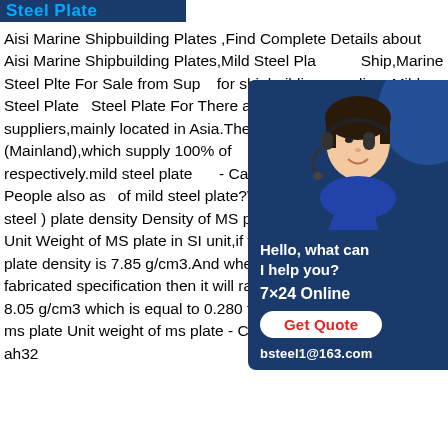Steel Plate
Aisi Marine Shipbuilding Plates ,Find Complete Details about Aisi Marine Shipbuilding Plates,Mild Steel Pla… Ship,Marine Steel Plte For Sale from Sup… for shipbuilding suppliers,Mild Steel Plate… Steel Plate For There are 443mild steel p… suppliers,mainly located in Asia.The top s… China (Mainland),which supply 100% of … shipbuilding respectively.mild steel plate … - Carbon Was this helpful?People also as… of mild steel plate?What is the unit weigh… mild steel ) plate density Density of MS plate is 7850 Kg/m3 ,this is Unit Weight of MS plate in SI unit,if we measure in cgs unit,ms plate density is 7.85 g/cm3.And when the alloy is added to fabricated specification then it will range from 7.75 g/cm3 to 8.05 g/cm3 which is equal to 0.280 to 0.291 lbs/inch3.Weight of ms plate Unit weight of ms plate - Civil Sirmarine mild plate ah32
[Figure (photo): Customer service representative with headset, shown in chat widget with dark blue background, Hello what can I help you? text, 7x24 Online label, Get Quote button, and bsteel1@163.com email]